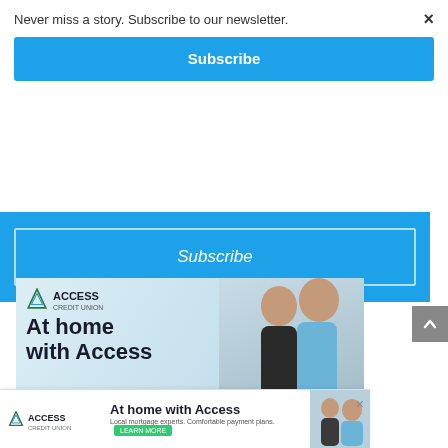Never miss a story. Subscribe to our newsletter.
Subscribe
Subscribe
[Figure (photo): Access Credit Union advertisement showing a couple looking upward with text 'At home with Access' and 'Local renovation loans']
[Figure (photo): Access Credit Union bottom banner ad with logo, 'At home with Access' text, couple photo, and Learn More button]